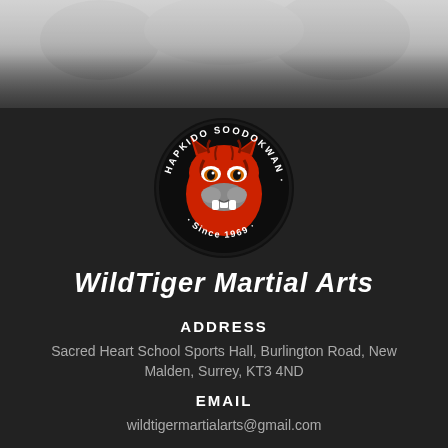[Figure (logo): WildTiger Martial Arts circular logo with red tiger face, text reading HAPKIDO SOODOKWAN · WILD TIGER · Since 1969]
WildTiger Martial Arts
ADDRESS
Sacred Heart School Sports Hall, Burlington Road, New Malden, Surrey, KT3 4ND
EMAIL
wildtigermartialarts@gmail.com